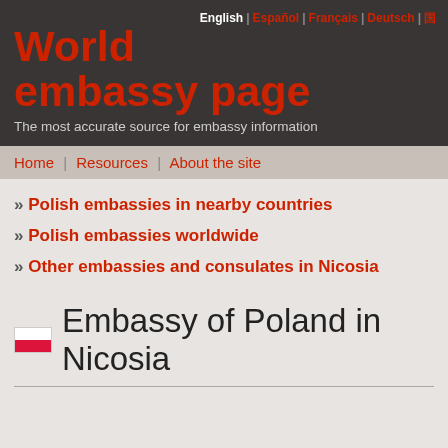World embassy page — The most accurate source for embassy information
English | Español | Français | Deutsch | [icon]
Home | Resources | About the site
» Polish embassies in nearby countries
» Polish embassies worldwide
» Other embassies and consulates in Nicosia
Embassy of Poland in Nicosia